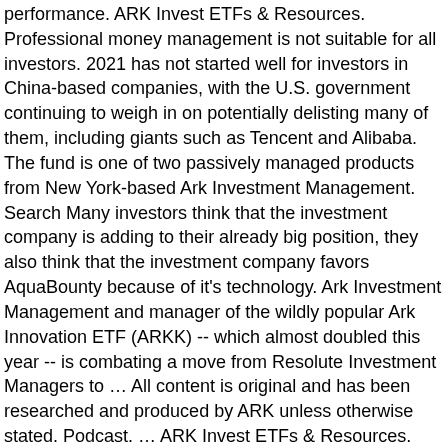performance. ARK Invest ETFs & Resources. Professional money management is not suitable for all investors. 2021 has not started well for investors in China-based companies, with the U.S. government continuing to weigh in on potentially delisting many of them, including giants such as Tencent and Alibaba. The fund is one of two passively managed products from New York-based Ark Investment Management. Search Many investors think that the investment company is adding to their already big position, they also think that the investment company favors AquaBounty because of it's technology. Ark Investment Management and manager of the wildly popular Ark Innovation ETF (ARKK) -- which almost doubled this year -- is combating a move from Resolute Investment Managers to … All content is original and has been researched and produced by ARK unless otherwise stated. Podcast. … ARK Invest ETFs & Resources. ARK Investment Management LLC is the investment adviser to the ARK ETFs. Please remember that there are inherent risks involved with investing in the markets, and your investments may be worth more or less than your initial investment upon redemption. Newsletter Sign-up. The five industries that could be disrupted by innovation in the coming years. Professional money management is not suitable for all investors. Commentary from Ark Invest: We share weekly commentaries with investors on stocks in our strategies that have appreciated or dropped more than 15% in a … From unloading shares of Tesla to adding Fastly after more. Five of the funds ETF options have more than 100% and and